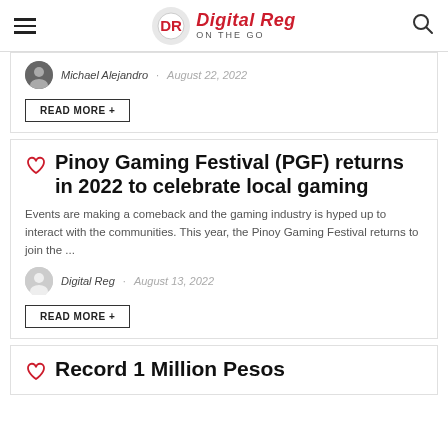Digital Reg On The Go
Michael Alejandro · August 22, 2022
READ MORE +
Pinoy Gaming Festival (PGF) returns in 2022 to celebrate local gaming
Events are making a comeback and the gaming industry is hyped up to interact with the communities. This year, the Pinoy Gaming Festival returns to join the ...
Digital Reg · August 13, 2022
READ MORE +
Record 1 Million Pesos